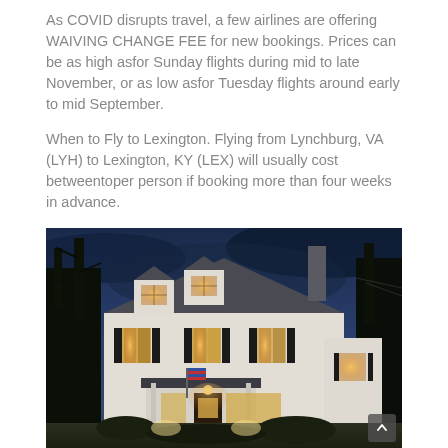As COVID disrupts travel, a few airlines are offering WAIVING CHANGE FEE for new bookings. Prices can be as high asfor Sunday flights during mid to late November, or as low asfor Tuesday flights around early to mid September.
When to Fly to Lexington. Flying from Lynchburg, VA (LYH) to Lexington, KY (LEX) will usually cost betweentoper person if booking more than four weeks in advance.
[Figure (photo): A white colonial-style house or inn photographed at dusk/evening with warm interior lights glowing through windows, bare trees visible on left, night sky with dark blue clouds in background, exterior lights illuminating the front of the building.]